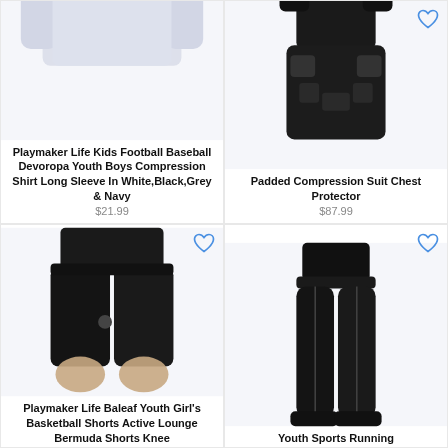[Figure (photo): White/light grey long sleeve compression shirt for kids, shown folded/flat lay]
Playmaker Life Kids Football Baseball Devoropa Youth Boys Compression Shirt Long Sleeve In White,Black,Grey & Navy
$21.99
[Figure (photo): Black padded compression shorts/suit chest protector shown from front]
Padded Compression Suit Chest Protector
$87.99
[Figure (photo): Black athletic biker/bermuda shorts worn by a youth girl, shown from side]
Playmaker Life Baleaf Youth Girl's Basketball Shorts Active Lounge Bermuda Shorts Knee
[Figure (photo): Black compression tights/leggings worn by a youth, shown full length from front]
Youth Sports Running